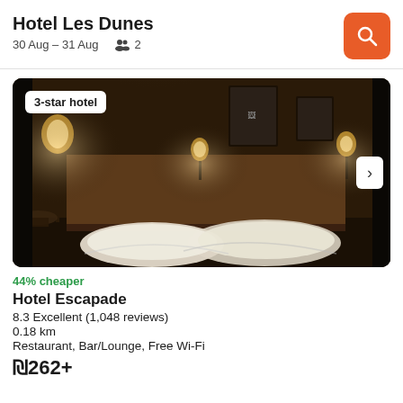Hotel Les Dunes
30 Aug – 31 Aug  👥 2
[Figure (photo): Hotel room with warm ambient lighting from bedside lamps and a floor lamp, white pillows on bed, brown headboard wall, framed artwork on wall. Badge: '3-star hotel']
44% cheaper
Hotel Escapade
8.3 Excellent (1,048 reviews)
0.18 km
Restaurant, Bar/Lounge, Free Wi-Fi
₪262+